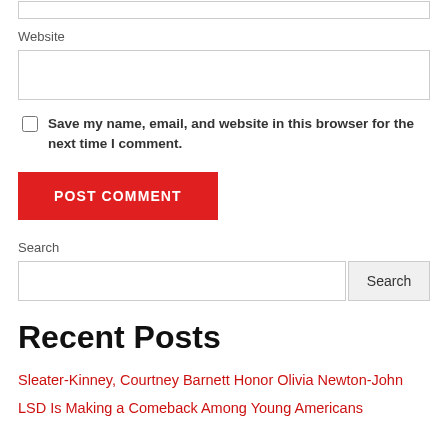Website
Save my name, email, and website in this browser for the next time I comment.
POST COMMENT
Search
Recent Posts
Sleater-Kinney, Courtney Barnett Honor Olivia Newton-John
LSD Is Making a Comeback Among Young Americans